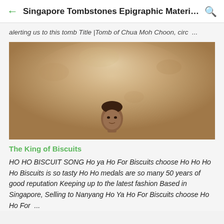Singapore Tombstones Epigraphic Material...
alerting us to this tomb Title |Tomb of Chua Moh Choon, circ ...
[Figure (photo): Sepia-toned antique photograph showing a person's head at the bottom center of the image, with faded beige/brown tones throughout]
The King of Biscuits
HO HO BISCUIT SONG Ho ya Ho For Biscuits choose Ho Ho Ho Ho Biscuits is so tasty Ho Ho medals are so many 50 years of good reputation Keeping up to the latest fashion Based in Singapore, Selling to Nanyang Ho Ya Ho For Biscuits choose Ho Ho For ...